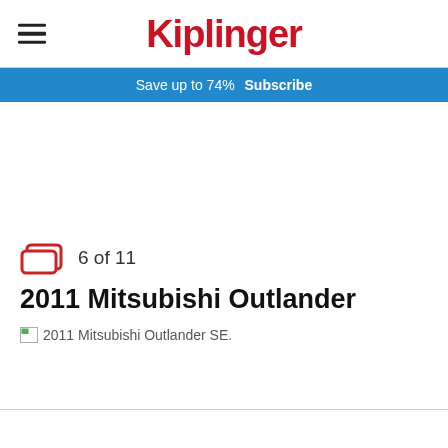Kiplinger
Save up to 74%  Subscribe
6 of 11
2011 Mitsubishi Outlander
[Figure (photo): Broken image placeholder with alt text: 2011 Mitsubishi Outlander SE.]